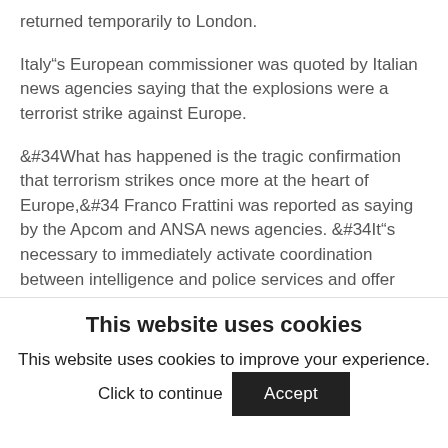returned temporarily to London.
Italy”s European commissioner was quoted by Italian news agencies saying that the explosions were a terrorist strike against Europe.
&#34What has happened is the tragic confirmation that terrorism strikes once more at the heart of Europe,&#34 Franco Frattini was reported as saying by the Apcom and ANSA news agencies. &#34It”s necessary to immediately activate coordination between intelligence and police services and offer England all the help possible,&#34 Frattini, Europe”s commissioner for justice and home affairs, was quoted as saying.
This website uses cookies
This website uses cookies to improve your experience. Click to continue
Accept